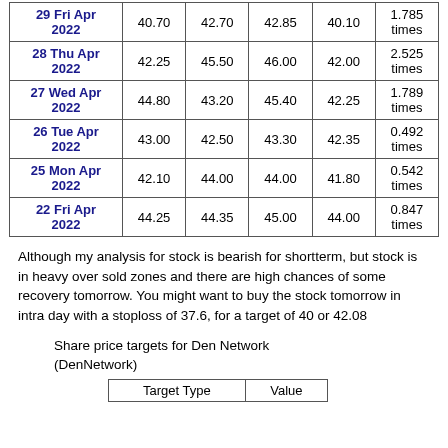| Date | Close | Open | High | Low | Volume |
| --- | --- | --- | --- | --- | --- |
| 29 Fri Apr 2022 | 40.70 | 42.70 | 42.85 | 40.10 | 1.785 times |
| 28 Thu Apr 2022 | 42.25 | 45.50 | 46.00 | 42.00 | 2.525 times |
| 27 Wed Apr 2022 | 44.80 | 43.20 | 45.40 | 42.25 | 1.789 times |
| 26 Tue Apr 2022 | 43.00 | 42.50 | 43.30 | 42.35 | 0.492 times |
| 25 Mon Apr 2022 | 42.10 | 44.00 | 44.00 | 41.80 | 0.542 times |
| 22 Fri Apr 2022 | 44.25 | 44.35 | 45.00 | 44.00 | 0.847 times |
Although my analysis for stock is bearish for shortterm, but stock is in heavy over sold zones and there are high chances of some recovery tomorrow. You might want to buy the stock tomorrow in intra day with a stoploss of 37.6, for a target of 40 or 42.08
Share price targets for Den Network (DenNetwork)
| Target Type | Value |
| --- | --- |